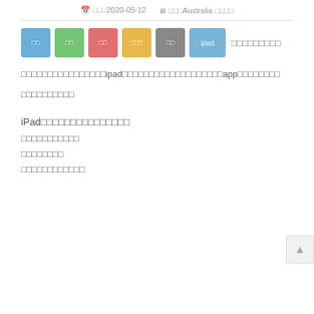□□□2020-05-12  □□□Australia □□□□
[Figure (other): Row of colored tag buttons with Japanese/Chinese characters and ipad label, followed by tag text]
□□□□□□□□□□□□□□□□ipad□□□□□□□□□□□□□□□□□□□app□□□□□□□□ □□□□□□□□□□
iPad□□□□□□□□□□□□□□□
□□□□□□□□□□□
□□□□□□□□
□□□□□□□□□□□□